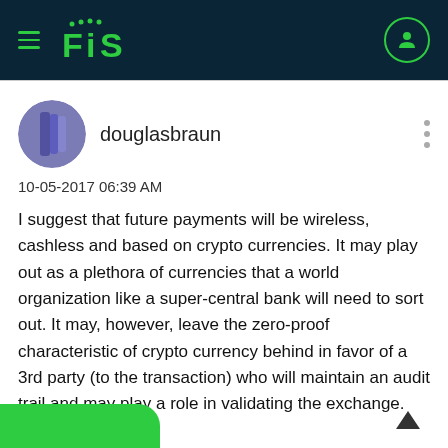FIS
douglasbraun
10-05-2017 06:39 AM
I suggest that future payments will be wireless, cashless and based on crypto currencies. It may play out as a plethora of currencies that a world organization like a super-central bank will need to sort out. It may, however, leave the zero-proof characteristic of crypto currency behind in favor of a 3rd party (to the transaction) who will maintain an audit trail and may play a role in validating the exchange.